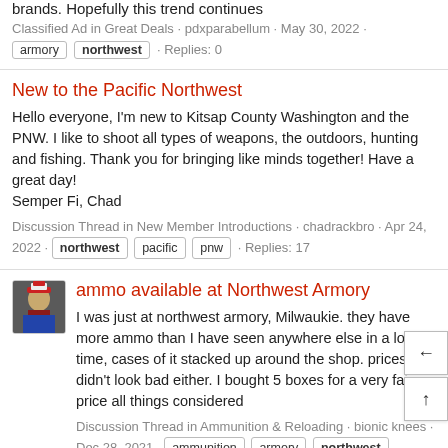brands. Hopefully this trend continues
Classified Ad in Great Deals · pdxparabellum · May 30, 2022 · armory northwest · Replies: 0
New to the Pacific Northwest
Hello everyone, I'm new to Kitsap County Washington and the PNW. I like to shoot all types of weapons, the outdoors, hunting and fishing. Thank you for bringing like minds together! Have a great day! Semper Fi, Chad
Discussion Thread in New Member Introductions · chadrackbro · Apr 24, 2022 · northwest pacific pnw · Replies: 17
ammo available at Northwest Armory
I was just at northwest armory, Milwaukie. they have more ammo than I have seen anywhere else in a long time, cases of it stacked up around the shop. prices didn't look bad either. I bought 5 boxes for a very fair price all things considered
Discussion Thread in Ammunition & Reloading · bionic knees · Dec 28, 2021 · ammunition armory northwest · Replies: 2
New to Northwest Firearms
Hello! I'm new to the forum. Heard about this place from another member. Happy shootin'!